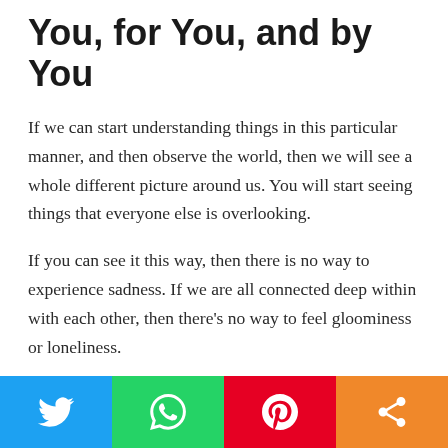You, for You, and by You
If we can start understanding things in this particular manner, and then observe the world, then we will see a whole different picture around us. You will start seeing things that everyone else is overlooking.
If you can see it this way, then there is no way to experience sadness. If we are all connected deep within with each other, then there’s no way to feel gloominess or loneliness.
[Figure (other): Social sharing bar with Twitter (blue), WhatsApp (green), Pinterest (red), and share (orange) buttons]